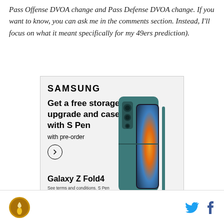Pass Offense DVOA change and Pass Defense DVOA change. If you want to know, you can ask me in the comments section. Instead, I'll focus on what it meant specifically for my 49ers prediction).
[Figure (other): Samsung advertisement for Galaxy Z Fold4. Text: SAMSUNG, Get a free storage upgrade and case with S Pen, with pre-order, Galaxy Z Fold4. Fine print: See terms and conditions. S Pen compatible only with Galaxy Z Fold4 main display. Image of Samsung Galaxy Z Fold4 phone with S Pen stylus in teal/dark blue color.]
SB Nation logo | Twitter icon | Facebook icon